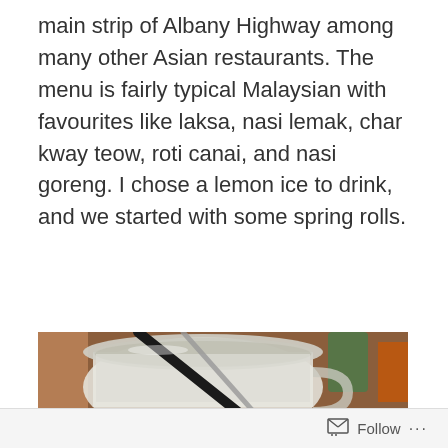main strip of Albany Highway among many other Asian restaurants. The menu is fairly typical Malaysian with favourites like laksa, nasi lemak, char kway teow, roti canai, and nasi goreng. I chose a lemon ice to drink, and we started with some spring rolls.
[Figure (photo): Close-up photo of a glass mason jar mug filled with a lemon ice drink, a black straw and a spoon inside. Background shows a wooden table surface, a green glass, and an orange chair.]
Follow ...